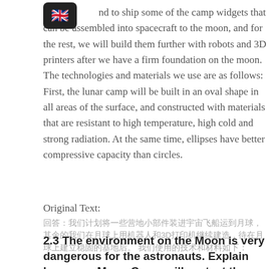W…nd to ship some of the camp widgets that can be assembled into spacecraft to the moon, and for the rest, we will build them further with robots and 3D printers after we have a firm foundation on the moon. The technologies and materials we use are as follows: First, the lunar camp will be built in an oval shape in all areas of the surface, and constructed with materials that are resistant to high temperature, high cold and strong radiation. At the same time, ellipses have better compressive capacity than circles.
Original Text:
（CJK original text lines）
2.3 The environment on the Moon is very dangerous for the astronauts. Explain how your Moon Camp will protect them. (maximum 150 words)